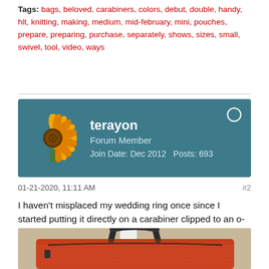Tags: bags, beloved, carabiners, colors, debut, double, handy, hlt, knitting, making, medium, mid-february, mini, pouches, prepare, preparing, purchase, separately, shows, sizes, small, swivel, tool, video, ways
[Figure (other): Forum user profile card with teal background showing sunflower avatar, username 'terayon', role 'Forum Member', Join Date Dec 2012, Posts 693]
01-21-2020, 11:11 AM
#2
I haven't misplaced my wedding ring once since I started putting it directly on a carabiner clipped to an o-ring whenever I take it off. (This was in the bag hacks video.)
[Figure (photo): Photo of a red/orange textured bag with black zipper, hanging on a white hook against a beige wall]